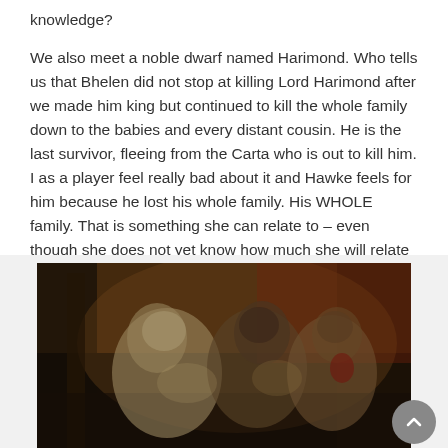knowledge?
We also meet a noble dwarf named Harimond. Who tells us that Bhelen did not stop at killing Lord Harimond after we made him king but continued to kill the whole family down to the babies and every distant cousin. He is the last survivor, fleeing from the Carta who is out to kill him. I as a player feel really bad about it and Hawke feels for him because he lost his whole family. His WHOLE family. That is something she can relate to – even though she does not yet know how much she will relate to it in the near future…
[Figure (screenshot): Screenshot from a video game showing armored dwarf characters in a dimly lit interior setting with warm reddish-brown tones.]